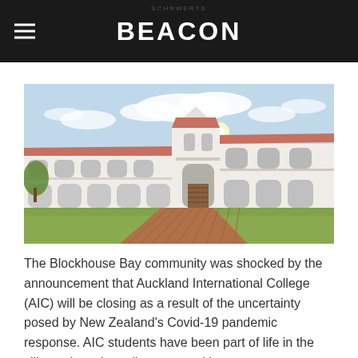BEACON
[Figure (photo): Exterior photograph of Auckland International College (AIC) building — a large white two-storey colonial-style structure with arched colonnades and a central tower, surrounded by green lawn and a brick pathway, under a partly cloudy sky.]
The Blockhouse Bay community was shocked by the announcement that Auckland International College (AIC) will be closing as a result of the uncertainty posed by New Zealand's Covid-19 pandemic response. AIC students have been part of life in the village since the college opened in